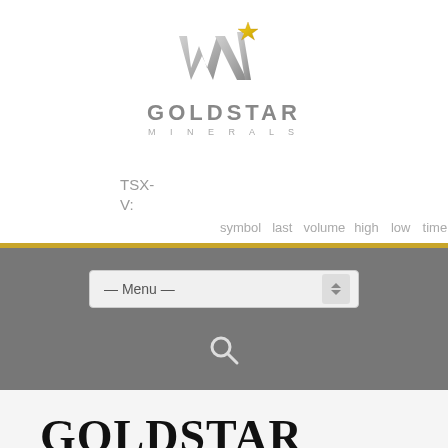[Figure (logo): Goldstar Minerals logo: stylized silver W with a gold star above, company name GOLDSTAR in bold gray letters and MINERALS in small spaced gray letters below]
TSX-V:
symbol   last   volume   high   low   time
[Figure (screenshot): Navigation bar with gray background, a dropdown menu labeled '— Menu —', a search icon, and a gold horizontal separator bar above]
GOLDSTAR